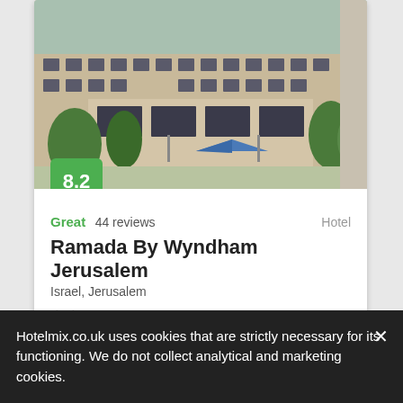[Figure (photo): Exterior photo of Ramada By Wyndham Jerusalem hotel building, large multi-story structure with beige stone facade, trees and blue tent canopy visible]
Great  44 reviews                                Hotel
Ramada By Wyndham Jerusalem
Israel, Jerusalem
★ ★
Featuring a solarium and a Jacuzzi along with an outdoor swimming pool, the venue is lodged in a beach area close to a...
from GBP 220 per night
Hotelmix.co.uk uses cookies that are strictly necessary for its functioning. We do not collect analytical and marketing cookies.